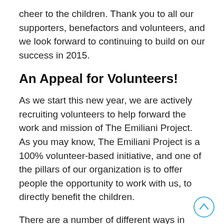cheer to the children.  Thank you to all our supporters, benefactors and volunteers, and we look forward to continuing to build on our success in 2015.
An Appeal for Volunteers!
As we start this new year, we are actively recruiting volunteers to help forward the work and mission of The Emiliani Project.  As you may know, The Emiliani Project is a 100% volunteer-based initiative, and one of the pillars of our organization is to offer people the opportunity to work with us, to directly benefit the children.
There are a number of different ways in which we need your help. First, we need your help to spread the word about our work, and the